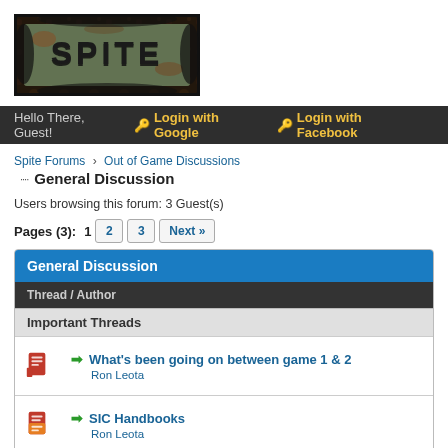[Figure (logo): SPITE game logo on dark grunge background]
Hello There, Guest!  🔑 Login with Google  🔑 Login with Facebook
Spite Forums › Out of Game Discussions
General Discussion
Users browsing this forum: 3 Guest(s)
Pages (3):  1  2  3  Next »
| Thread / Author |
| --- |
| Important Threads |
| ➡ What's been going on between game 1 & 2
Ron Leota |
| ➡ SIC Handbooks
Ron Leota |